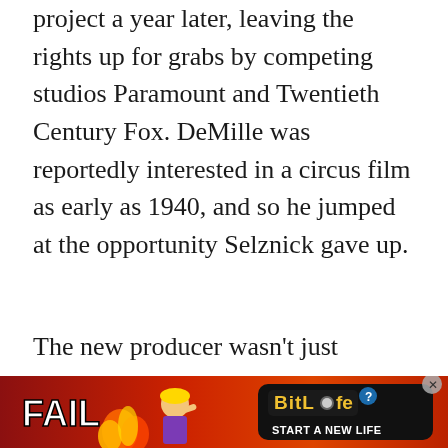project a year later, leaving the rights up for grabs by competing studios Paramount and Twentieth Century Fox. DeMille was reportedly interested in a circus film as early as 1940, and so he jumped at the opportunity Selznick gave up.
The new producer wasn't just interested in making a spectacle film, a typical dramatic look at another form of entertainment using Hollywood techniques. DeMille was dedicated to bringing the real experience of the big top to the big screen. He spent an entire 1949 season riding along with the Ringling Bros. Circus to get a feel for th...
[Figure (other): Advertisement overlay for BitLife game: 'FAIL' text with cartoon character, flames, and 'START A NEW LIFE' call to action on dark/red background]